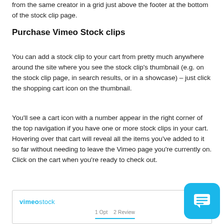from the same creator in a grid just above the footer at the bottom of the stock clip page.
Purchase Vimeo Stock clips
You can add a stock clip to your cart from pretty much anywhere around the site where you see the stock clip's thumbnail (e.g. on the stock clip page, in search results, or in a showcase) – just click the shopping cart icon on the thumbnail.
You'll see a cart icon with a number appear in the right corner of the top navigation if you have one or more stock clips in your cart. Hovering over that cart will reveal all the items you've added to it so far without needing to leave the Vimeo page you're currently on. Click on the cart when you're ready to check out.
[Figure (screenshot): Screenshot showing Vimeo Stock interface with logo and navigation tabs]